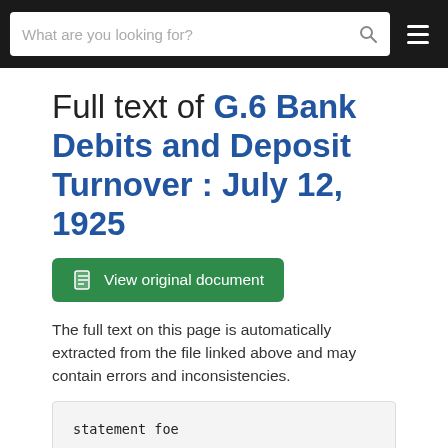What are you looking for?
Full text of G.6 Bank Debits and Deposit Turnover : July 12, 1925
[Figure (other): Green button: View original document]
The full text on this page is automatically extracted from the file linked above and may contain errors and inconsistencies.
statement foe

The k jess

Released for publication